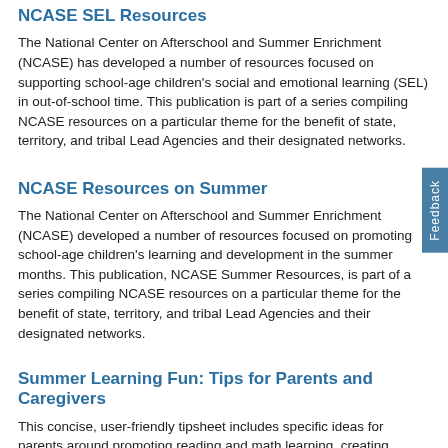NCASE SEL Resources
The National Center on Afterschool and Summer Enrichment (NCASE) has developed a number of resources focused on supporting school-age children's social and emotional learning (SEL) in out-of-school time. This publication is part of a series compiling NCASE resources on a particular theme for the benefit of state, territory, and tribal Lead Agencies and their designated networks.
NCASE Resources on Summer
The National Center on Afterschool and Summer Enrichment (NCASE) developed a number of resources focused on promoting school-age children's learning and development in the summer months. This publication, NCASE Summer Resources, is part of a series compiling NCASE resources on a particular theme for the benefit of state, territory, and tribal Lead Agencies and their designated networks.
Summer Learning Fun: Tips for Parents and Caregivers
This concise, user-friendly tipsheet includes specific ideas for parents around promoting reading and math learning, creating opportunities for learning and staying active, and talking with their child, their child's teachers, and the summer children's program/instructors for